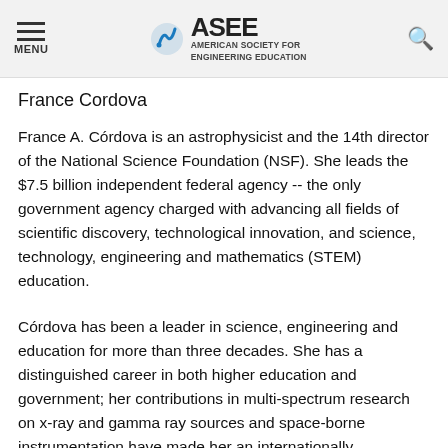MENU | ASEE AMERICAN SOCIETY FOR ENGINEERING EDUCATION
France Cordova
France A. Córdova is an astrophysicist and the 14th director of the National Science Foundation (NSF). She leads the $7.5 billion independent federal agency -- the only government agency charged with advancing all fields of scientific discovery, technological innovation, and science, technology, engineering and mathematics (STEM) education.
Córdova has been a leader in science, engineering and education for more than three decades. She has a distinguished career in both higher education and government; her contributions in multi-spectrum research on x-ray and gamma ray sources and space-borne instrumentation have made her an internationally